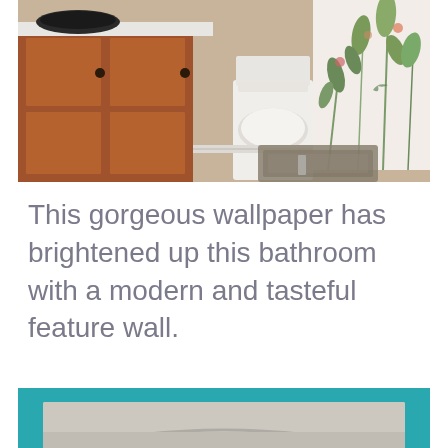[Figure (photo): Bathroom interior showing wooden vanity cabinet with white countertop and dark vessel sink on left, white toilet in center, and floral botanical wallpaper on the right wall. Beige tile floor with a patterned rug.]
This gorgeous wallpaper has brightened up this bathroom with a modern and tasteful feature wall.
[Figure (photo): Partial view of a bathtub interior shown against a teal/turquoise border frame, visible at the bottom of the page.]